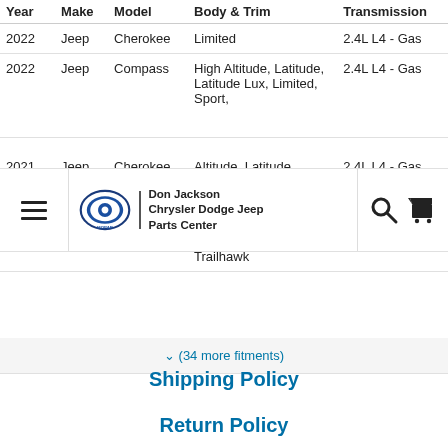| Year | Make | Model | Body & Trim | Transmission |
| --- | --- | --- | --- | --- |
| 2022 | Jeep | Cherokee | Limited | 2.4L L4 - Gas |
| 2022 | Jeep | Compass | High Altitude, Latitude, Latitude Lux, Limited, Sport, | 2.4L L4 - Gas |
| 2021 | Jeep | Cherokee | Altitude, Latitude, Latitude Plus | 2.4L L4 - Gas |
| 2021 | Jeep | Compass | 80th Anniversary, Altitude, Latitude, Limited, Sport, Trailhawk | 2.4L L4 - Gas |
[Figure (logo): Don Jackson Chrysler Dodge Jeep Parts Center / MOPAR logo navbar overlay]
✓ (34 more fitments)
Shipping Policy
Return Policy